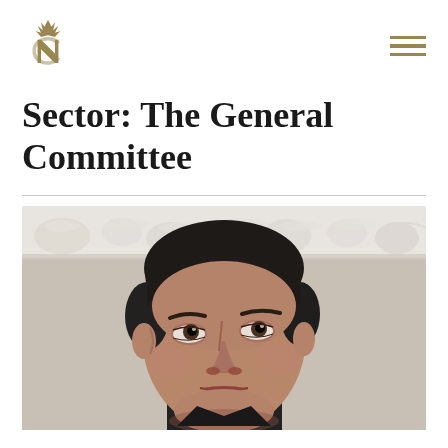NC logo and hamburger menu
Sector: The General Committee
[Figure (photo): Close-up portrait photo of a middle-aged man with dark hair, looking slightly upward, against a light textured wall with decorative white relief border at top.]